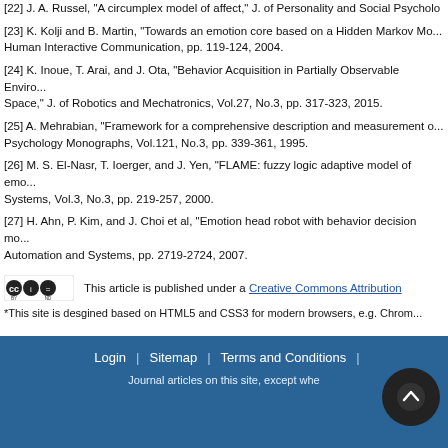[22] J. A. Russel, "A circumplex model of affect," J. of Personality and Social Psychology
[23] K. Kolji and B. Martin, "Towards an emotion core based on a Hidden Markov Model," Human Interactive Communication, pp. 119-124, 2004.
[24] K. Inoue, T. Arai, and J. Ota, "Behavior Acquisition in Partially Observable Environment Space," J. of Robotics and Mechatronics, Vol.27, No.3, pp. 317-323, 2015.
[25] A. Mehrabian, "Framework for a comprehensive description and measurement of," Psychology Monographs, Vol.121, No.3, pp. 339-361, 1995.
[26] M. S. El-Nasr, T. Ioerger, and J. Yen, "FLAME: fuzzy logic adaptive model of emotion," Systems, Vol.3, No.3, pp. 219-257, 2000.
[27] H. Ahn, P. Kim, and J. Choi et al, "Emotion head robot with behavior decision model," Automation and Systems, pp. 2719-2724, 2007.
This article is published under a Creative Commons Attribution
*This site is desgined based on HTML5 and CSS3 for modern browsers, e.g. Chrome
Login | Sitemap | Terms and Conditions
Journal articles on this site, except whe